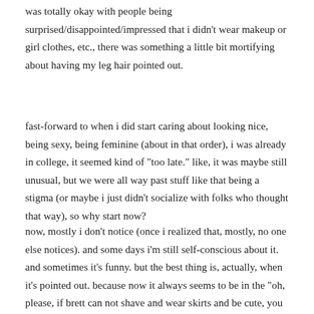was totally okay with people being surprised/disappointed/impressed that i didn't wear makeup or girl clothes, etc., there was something a little bit mortifying about having my leg hair pointed out.
fast-forward to when i did start caring about looking nice, being sexy, being feminine (about in that order), i was already in college, it seemed kind of "too late." like, it was maybe still unusual, but we were all way past stuff like that being a stigma (or maybe i just didn't socialize with folks who thought that way), so why start now?
now, mostly i don't notice (once i realized that, mostly, no one else notices). and some days i'm still self-conscious about it. and sometimes it's funny. but the best thing is, actually, when it's pointed out. because now it always seems to be in the "oh, please, if brett can not shave and wear skirts and be cute, you need to quit being self-conscious about xyz thing no one else